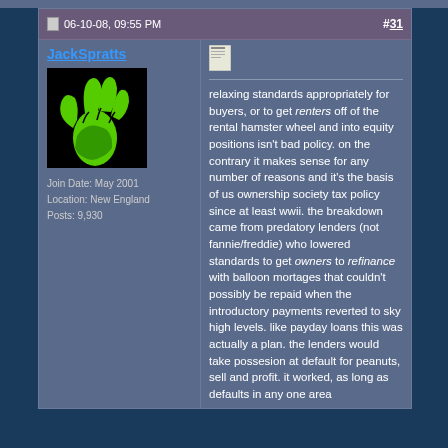06-10-08, 09:55 PM  #31
JackSpratts
Join Date: May 2001
Location: New England
Posts: 9,930
relaxing standards appropriately for buyers, or to get renters off of the rental hamster wheel and into equity positions isn't bad policy. on the contrary it makes sense for any number of reasons and it's the basis of us ownership society tax policy since at least wwii. the breakdown came from predatory lenders (not fannie/freddie) who lowered standards to get owners to refinance with balloon mortages that couldn't possibly be repaid when the introductory payments reverted to sky high levels. like payday loans this was actually a plan. the lenders would take possesion at default for peanuts, sell and profit. it worked, as long as defaults in any one area